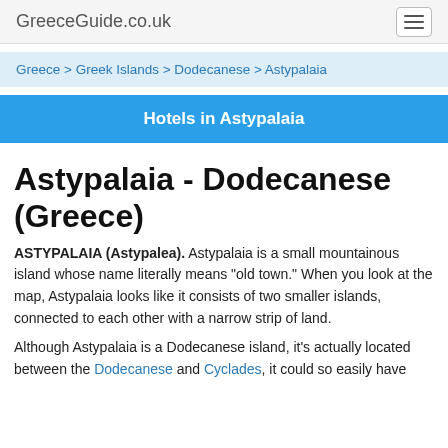GreeceGuide.co.uk
Greece > Greek Islands > Dodecanese > Astypalaia
Hotels in Astypalaia
Astypalaia - Dodecanese (Greece)
ASTYPALAIA (Astypalea). Astypalaia is a small mountainous island whose name literally means "old town." When you look at the map, Astypalaia looks like it consists of two smaller islands, connected to each other with a narrow strip of land.
Although Astypalaia is a Dodecanese island, it's actually located between the Dodecanese and Cyclades, it could so easily have